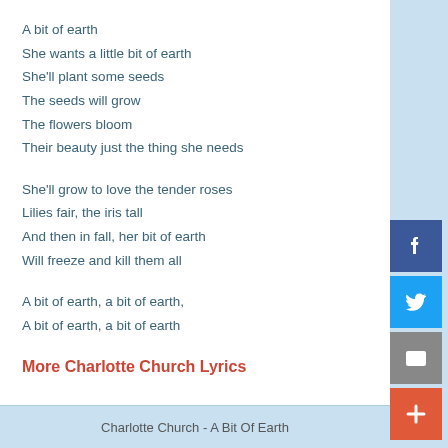A bit of earth
She wants a little bit of earth
She'll plant some seeds
The seeds will grow
The flowers bloom
Their beauty just the thing she needs
She'll grow to love the tender roses
Lilies fair, the iris tall
And then in fall, her bit of earth
Will freeze and kill them all
A bit of earth, a bit of earth,
A bit of earth, a bit of earth
More Charlotte Church Lyrics
Charlotte Church - A Bit Of Earth